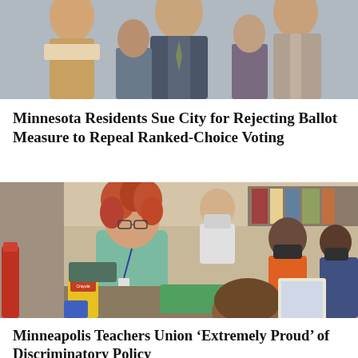[Figure (photo): Group of people including officials posing for a photo, cropped at top showing partial faces and upper bodies]
Minnesota Residents Sue City for Rejecting Ballot Measure to Repeal Ranked-Choice Voting
[Figure (photo): Teacher with curly red hair and glasses working with masked elementary school children seated at desks in a classroom, with school supplies visible including Crayola crayons and a green tray]
Minneapolis Teachers Union ‘Extremely Proud’ of Discriminatory Policy